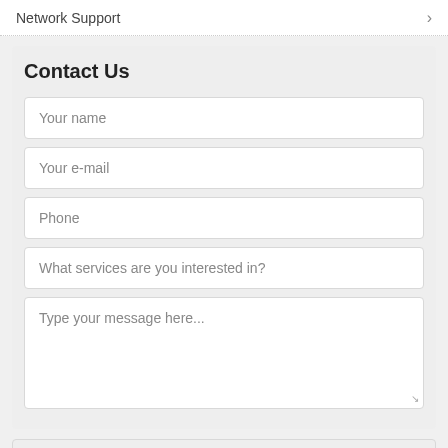Network Support
Contact Us
Your name
Your e-mail
Phone
What services are you interested in?
Type your message here...